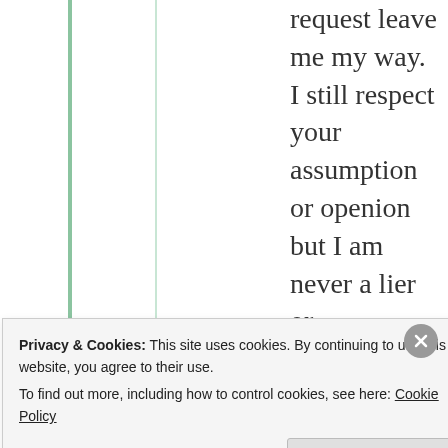request leave me my way. I still respect your assumption or openion but I am never a lier or scammer.
★ Like
[Figure (illustration): Gold/yellow avatar icon with directional arrows symbol for user mildredprince]
mildredprince
Privacy & Cookies: This site uses cookies. By continuing to use this website, you agree to their use. To find out more, including how to control cookies, see here: Cookie Policy
Close and accept